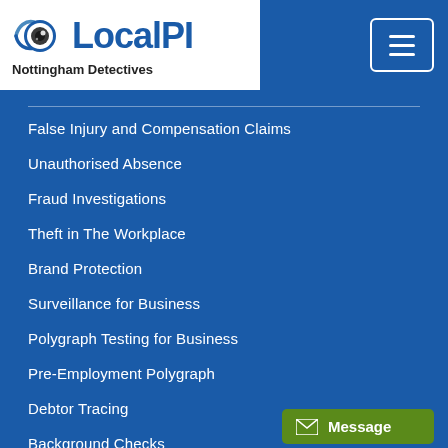[Figure (logo): LocalPI eye logo with text 'LocalPI' and subtitle 'Nottingham Detectives']
False Injury and Compensation Claims
Unauthorised Absence
Fraud Investigations
Theft in The Workplace
Brand Protection
Surveillance for Business
Polygraph Testing for Business
Pre-Employment Polygraph
Debtor Tracing
Background Checks